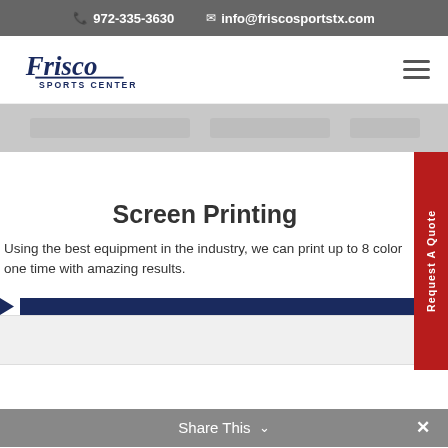📞 972-335-3630   ✉ info@friscosportstx.com
[Figure (logo): Frisco Sports Center logo in dark navy blue cursive script with 'SPORTS CENTER' in block letters below]
[Figure (illustration): Faded gray hero banner image area]
Screen Printing
Using the best equipment in the industry, we can print up to 8 color one time with amazing results.
[Figure (infographic): Request A Quote red vertical sidebar button]
Share This  ✕